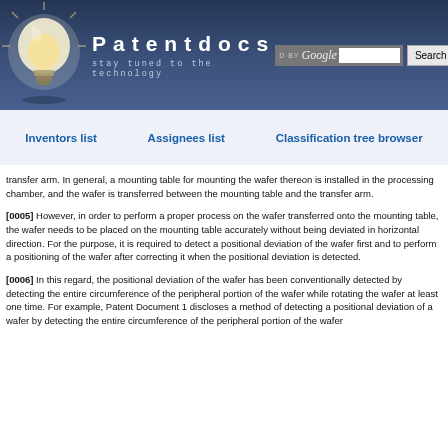Patentdocs — stay tuned to the technology
Inventors list   Assignees list   Classification tree browser
transfer arm. In general, a mounting table for mounting the wafer thereon is installed in the processing chamber, and the wafer is transferred between the mounting table and the transfer arm.
[0005] However, in order to perform a proper process on the wafer transferred onto the mounting table, the wafer needs to be placed on the mounting table accurately without being deviated in horizontal direction. For the purpose, it is required to detect a positional deviation of the wafer first and to perform a positioning of the wafer after correcting it when the positional deviation is detected.
[0006] In this regard, the positional deviation of the wafer has been conventionally detected by detecting the entire circumference of the peripheral portion of the wafer while rotating the wafer at least one time. For example, Patent Document 1 discloses a method of detecting a positional deviation of a wafer by detecting the entire circumference of the peripheral portion of the wafer